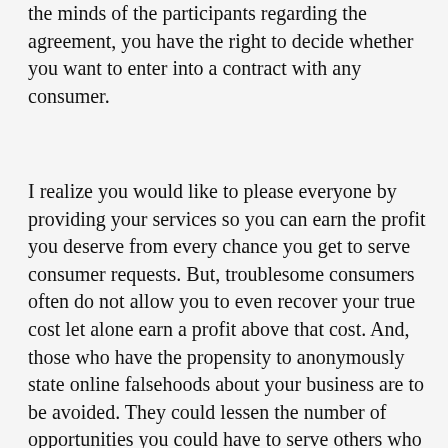the minds of the participants regarding the agreement, you have the right to decide whether you want to enter into a contract with any consumer.
I realize you would like to please everyone by providing your services so you can earn the profit you deserve from every chance you get to serve consumer requests. But, troublesome consumers often do not allow you to even recover your true cost let alone earn a profit above that cost. And, those who have the propensity to anonymously state online falsehoods about your business are to be avoided. They could lessen the number of opportunities you could have to serve others who mistakenly fall under the negative spell consumers cast upon your internet business image.